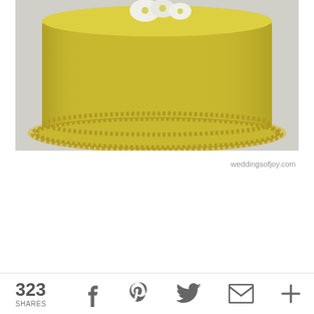[Figure (photo): A gold/yellow fondant wedding cake with pearl bead decorations around the base tiers, viewed from slightly above. The cake has two visible tiers and is topped with white flowers. Two rows of small gold beads decorate the circumference of the base.]
weddingsofjoy.com
323 SHARES  [Facebook] [Pinterest] [Twitter] [Email] [Plus]